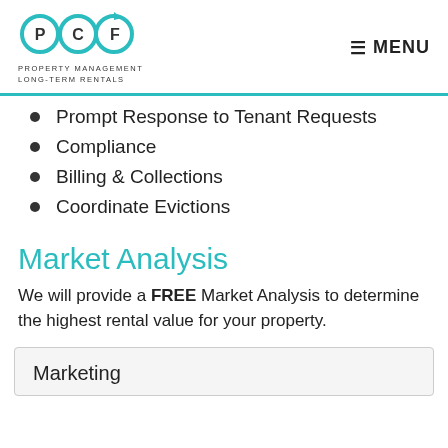PCF Property Management Long-Term Rentals | MENU
Prompt Response to Tenant Requests
Compliance
Billing & Collections
Coordinate Evictions
Market Analysis
We will provide a FREE Market Analysis to determine the highest rental value for your property.
Marketing